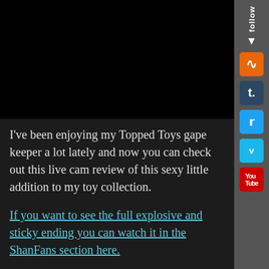[Figure (other): Black video player area]
I've been enjoying my Topped Toys gape keeper a lot lately and now you can check out this live cam review of this sexy little addition to my toy collection.
If you want to see the full explosive and sticky ending you can watch it in the ShanFans section here.
You can see more of my live cams by subscribing to my OnlyFans right now.